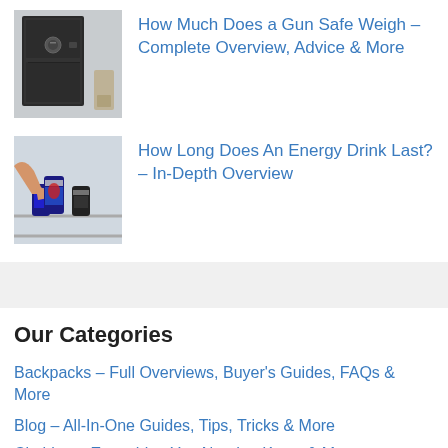[Figure (photo): Gun safe - a dark metal cabinet photographed against a light background]
How Much Does a Gun Safe Weigh – Complete Overview, Advice & More
[Figure (photo): Energy drink cans on a shelf, one being grabbed by a hand]
How Long Does An Energy Drink Last? – In-Depth Overview
Our Categories
Backpacks – Full Overviews, Buyer's Guides, FAQs & More
Blog – All-In-One Guides, Tips, Tricks & More
Clothing – Everything You Need to Know & More